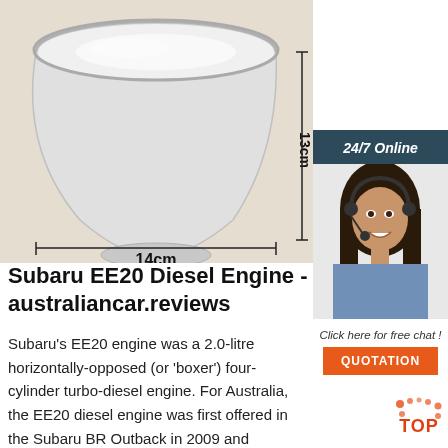[Figure (photo): Stainless steel mixing bowl photographed from above at an angle, showing a shiny metallic silver bowl on a beige/cream background. Dimension annotations show 13cm height and 14cm width with measurement arrows.]
[Figure (photo): Customer service representative sidebar advertisement. Dark teal header reads '24/7 Online'. Photo of a smiling woman with dark hair wearing a headset. Text reads 'Click here for free chat!' with an orange 'QUOTATION' button.]
Subaru EE20 Diesel Engine - australiancar.reviews
Subaru's EE20 engine was a 2.0-litre horizontally-opposed (or 'boxer') four-cylinder turbo-diesel engine. For Australia, the EE20 diesel engine was first offered in the Subaru BR Outback in 2009 and subsequently powered the Subaru SH Forester, SJ Forester and BS Outback.The EE20 diesel engine underwent